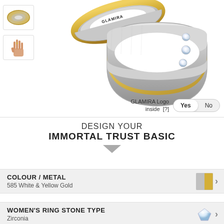[Figure (photo): Product photo of two wedding rings: one silver/white gold with yellow gold band and diamonds, shown from two angles. Small thumbnails on left show ring top view and on-hand view.]
GLAMIRA Logo inside [?]
Yes  No
DESIGN YOUR IMMORTAL TRUST BASIC
COLOUR / METAL
585 White & Yellow Gold
WOMEN'S RING STONE TYPE
Zirconia